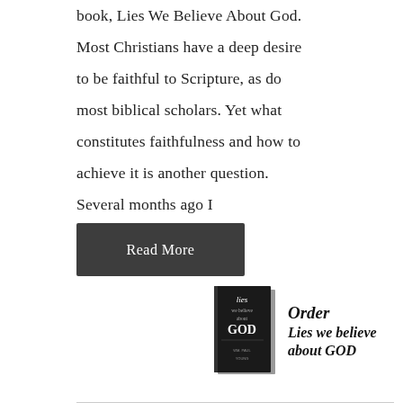book, Lies We Believe About God. Most Christians have a deep desire to be faithful to Scripture, as do most biblical scholars. Yet what constitutes faithfulness and how to achieve it is another question. Several months ago I
Read More
[Figure (illustration): Book cover of 'Lies we believe about GOD' by Wm. Paul Young, shown as a physical book with black and white cover]
Order Lies we believe about GOD